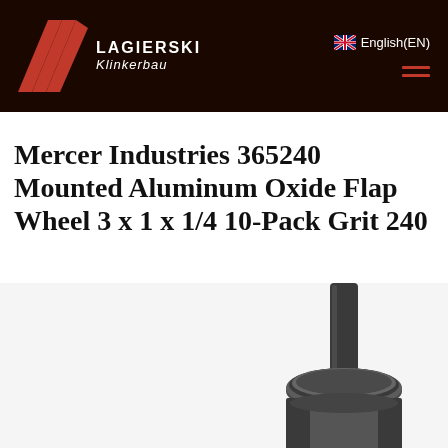[Figure (logo): Lagierski Klinkerbau logo with red stylized L marks on dark brown/black header background]
English(EN)
Mercer Industries 365240 Mounted Aluminum Oxide Flap Wheel 3 x 1 x 1/4 10-Pack Grit 240
[Figure (photo): Partial view of a mounted aluminum oxide flap wheel product, showing the shaft/spindle portion against a white background]